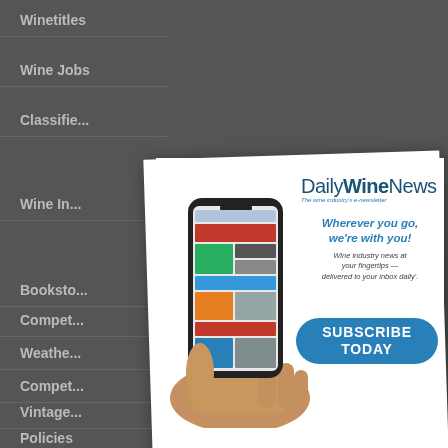Winetitles
Wine Jobs
Classifie...
Wine In...
Booksto...
Compet...
Weathe...
Compet...
Vintage...
Policies
[Figure (advertisement): Daily Wine News advertisement showing a hand holding a smartphone displaying the Daily Wine News website. Text reads: Daily Wine News - The wine industry's e-newsletter. Wherever you go, we're with you! Wine industry news at your fingertips — delivered to your inbox daily'. Blue rounded button: SUBSCRIBE TODAY]